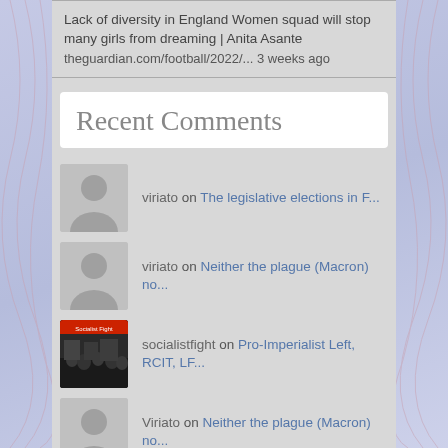Lack of diversity in England Women squad will stop many girls from dreaming | Anita Asante
theguardian.com/football/2022/... 3 weeks ago
Recent Comments
viriato on The legislative elections in F...
viriato on Neither the plague (Macron) no...
socialistfight on Pro-Imperialist Left, RCIT, LF...
Viriato on Neither the plague (Macron) no...